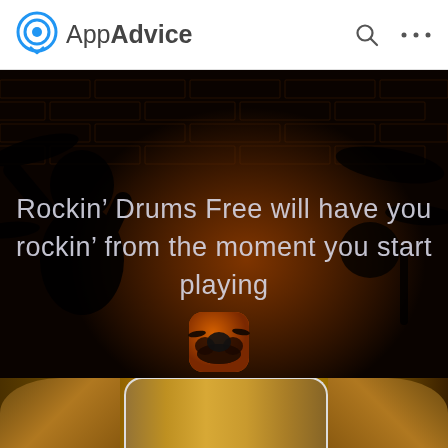AppAdvice
[Figure (screenshot): AppAdvice website screenshot showing a hero banner for 'Rockin' Drums Free' app. Dark background with silhouette of a drummer against brick wall. Text reads: Rockin' Drums Free will have you rockin' from the moment you start playing. Below is the app icon (drum kit on orange background), app name 'Rockin' Drums', and 'by Drum Starz'. Bottom shows a screenshot strip of cymbal images.]
Rockin’ Drums Free will have you rockin’ from the moment you start playing
Rockin' Drums
by Drum Starz